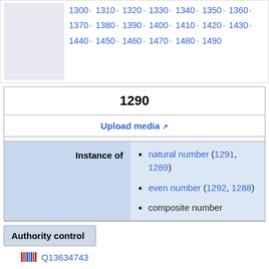1300 · 1310 · 1320 · 1330 · 1340 · 1350 · 1360 · 1370 · 1380 · 1390 · 1400 · 1410 · 1420 · 1430 · 1440 · 1450 · 1460 · 1470 · 1480 · 1490
1290
Upload media ↗
| Instance of |  |
| --- | --- |
| Instance of | natural number (1291, 1289)
even number (1292, 1288)
composite number |
Authority control
Q13634743